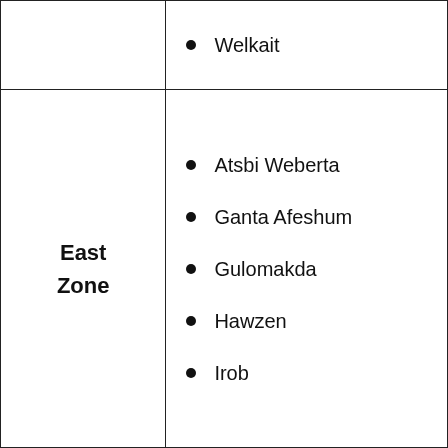|  | Welkait |
| East Zone | Atsbi Weberta
Ganta Afeshum
Gulomakda
Hawzen
Irob |